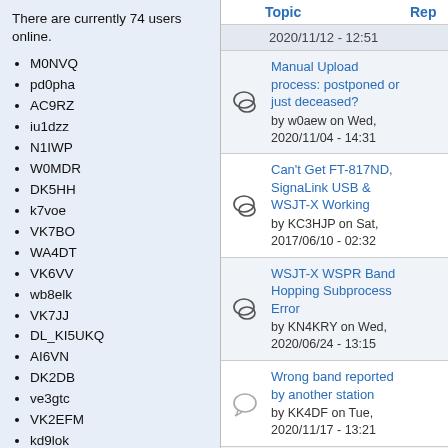There are currently 74 users online.
M0NVQ
pd0pha
AC9RZ
iu1dzz
N1IWP
W0MDR
DK5HH
k7voe
VK7BO
WA4DT
VK6VV
wb8elk
VK7JJ
DL_KI5UKQ
AI6VN
DK2DB
ve3gtc
VK2EFM
kd9lok
N3KPU
WA2ZKD
EA6FG
ja9mat
OH2CMF
| Topic | Rep |
| --- | --- |
| 2020/11/12 - 12:51 |  |
| Manual Upload process: postponed or just deceased?
by w0aew on Wed, 2020/11/04 - 14:31 |  |
| Can't Get FT-817ND, SignaLink USB & WSJT-X Working
by KC3HJP on Sat, 2017/06/10 - 02:32 |  |
| WSJT-X WSPR Band Hopping Subprocess Error
by KN4KRY on Wed, 2020/06/24 - 13:15 |  |
| Wrong band reported by another station
by KK4DF on Tue, 2020/11/17 - 13:21 |  |
| Reporter's grid: 4 or 6 characters?
by N3SZ on Thu, |  |